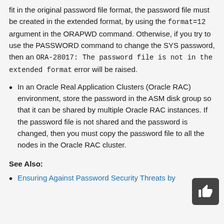fit in the original password file format, the password file must be created in the extended format, by using the format=12 argument in the ORAPWD command. Otherwise, if you try to use the PASSWORD command to change the SYS password, then an ORA-28017: The password file is not in the extended format error will be raised.
In an Oracle Real Application Clusters (Oracle RAC) environment, store the password in the ASM disk group so that it can be shared by multiple Oracle RAC instances. If the password file is not shared and the password is changed, then you must copy the password file to all the nodes in the Oracle RAC cluster.
See Also:
Ensuring Against Password Security Threats by